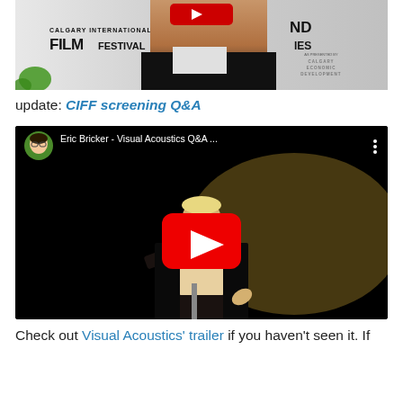[Figure (photo): Photo of a man at the Calgary International Film Festival, wearing a black jacket, with the CIFF banner visible behind him. A red YouTube play button is overlaid at the top.]
update: CIFF screening Q&A
[Figure (screenshot): YouTube video embed showing 'Eric Bricker - Visual Acoustics Q&A ...' with a thumbnail of a person speaking at a microphone on a dark stage, with a large red YouTube play button in the center. The uploader avatar and video title are shown in the header bar.]
Check out Visual Acoustics' trailer if you haven't seen it. If